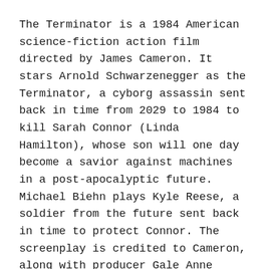The Terminator is a 1984 American science-fiction action film directed by James Cameron. It stars Arnold Schwarzenegger as the Terminator, a cyborg assassin sent back in time from 2029 to 1984 to kill Sarah Connor (Linda Hamilton), whose son will one day become a savior against machines in a post-apocalyptic future. Michael Biehn plays Kyle Reese, a soldier from the future sent back in time to protect Connor. The screenplay is credited to Cameron, along with producer Gale Anne Hurd. Executive producers John Daly and Derek Gibson of Hemdale Film Corporation were instrumental in the film's financing and production.
The Terminator topped the US box office for two weeks and helped launch Cameron's film career and solidify Schwarzenegger's. It received critical acclaim, with many praising its pacing, action scenes and Schwarzenegger's performance. Its success led to a franchise consisting of